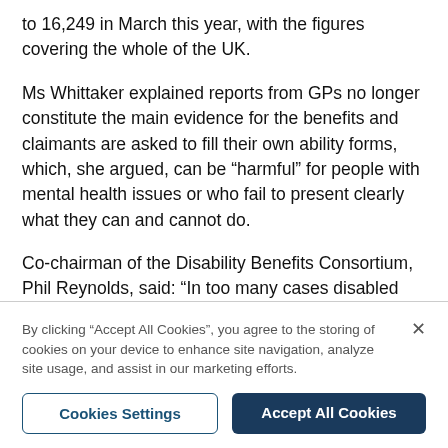to 16,249 in March this year, with the figures covering the whole of the UK.
Ms Whittaker explained reports from GPs no longer constitute the main evidence for the benefits and claimants are asked to fill their own ability forms, which, she argued, can be “harmful” for people with mental health issues or who fail to present clearly what they can and cannot do.
Co-chairman of the Disability Benefits Consortium, Phil Reynolds, said: “In too many cases disabled people are being inappropriately turned down for PIP, because of inaccurate assessments and inadequate knowledge of
By clicking “Accept All Cookies”, you agree to the storing of cookies on your device to enhance site navigation, analyze site usage, and assist in our marketing efforts.
Cookies Settings
Accept All Cookies